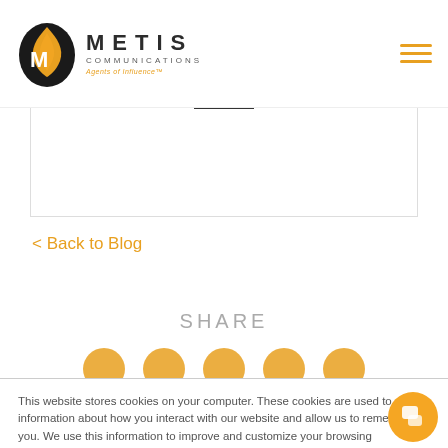Metis Communications — Agents of Influence™
< Back to Blog
SHARE
This website stores cookies on your computer. These cookies are used to collect information about how you interact with our website and allow us to remember you. We use this information to improve and customize your browsing experience and for analytics and metrics about our visitors both on this website and other media. For more information, read our Privacy Policy.
Accept